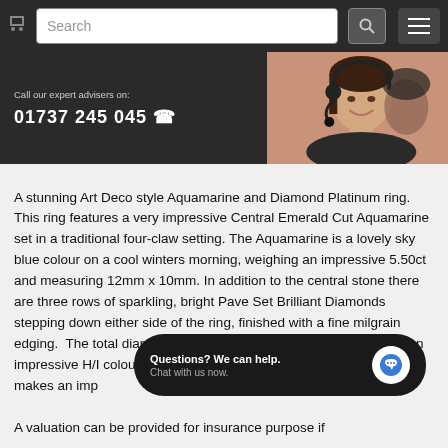Search [navigation bar with search, cart, menu]
[Figure (photo): Dark banner with call center text on left: 'Call our expert advisers on: 01737 245 045' and a photo of a smiling woman wearing a headset on the right]
A stunning Art Deco style Aquamarine and Diamond Platinum ring. This ring features a very impressive Central Emerald Cut Aquamarine set in a traditional four-claw setting. The Aquamarine is a lovely sky blue colour on a cool winters morning, weighing an impressive 5.50ct and measuring 12mm x 10mm. In addition to the central stone there are three rows of sparkling, bright Pave Set Brilliant Diamonds stepping down either side of the ring, finished with a fine milgrain edging.  The total diamond weight is 0.35ct and the diamonds are an impressive H/I colour and VS/SI clarity. This ring is certainly makes an impact and is set in high quality Platinum.
[Figure (screenshot): Chat widget overlay: 'Questions? We can help. Chat with us now.' with a blue chat bubble icon]
A valuation can be provided for insurance purpose if